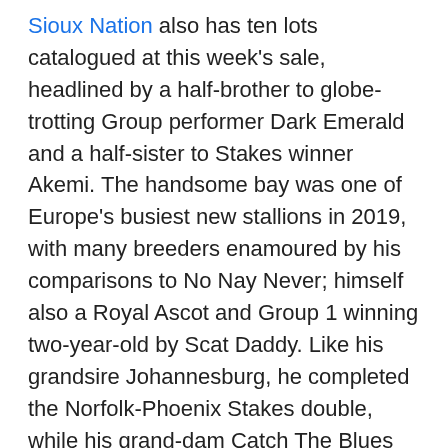Sioux Nation also has ten lots catalogued at this week's sale, headlined by a half-brother to globe-trotting Group performer Dark Emerald and a half-sister to Stakes winner Akemi. The handsome bay was one of Europe's busiest new stallions in 2019, with many breeders enamoured by his comparisons to No Nay Never; himself also a Royal Ascot and Group 1 winning two-year-old by Scat Daddy. Like his grandsire Johannesburg, he completed the Norfolk-Phoenix Stakes double, while his grand-dam Catch The Blues captured the Group 1 King's Stand Stakes at Royal Ascot.
U S Navy Flag gives his stud mates a run for their money on pedigree, as a son of sire sensation War Front, out of the top-class race mare Misty For Me (Galileo), making him a full-brother to three-time Group 1 winner Roly Poly. His race record is just as impressive- he was crowned European Champion Two-Year-Old after winning the